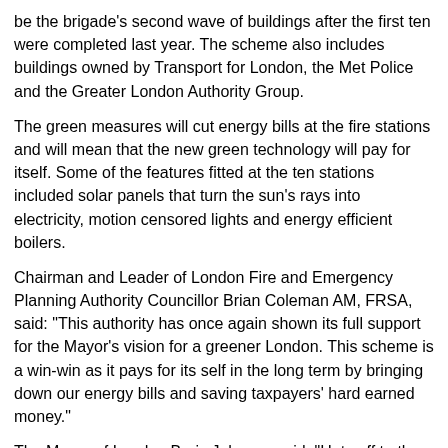be the brigade's second wave of buildings after the first ten were completed last year. The scheme also includes buildings owned by Transport for London, the Met Police and the Greater London Authority Group.
The green measures will cut energy bills at the fire stations and will mean that the new green technology will pay for itself. Some of the features fitted at the ten stations included solar panels that turn the sun's rays into electricity, motion censored lights and energy efficient boilers.
Chairman and Leader of London Fire and Emergency Planning Authority Councillor Brian Coleman AM, FRSA, said: "This authority has once again shown its full support for the Mayor's vision for a greener London. This scheme is a win-win as it pays for its self in the long term by bringing down our energy bills and saving taxpayers' hard earned money."
The Mayor of London Boris Johnson said: "Hats off to the London Fire Brigade for giving ten more fire stations a fabulous green makeover. This scheme not only saves the fire brigade and the taxpayer a huge £80,000 a year in energy bills that can be better spent keeping Londoners safe, but it helps cut our carbon emissions too."
London Fire Brigade